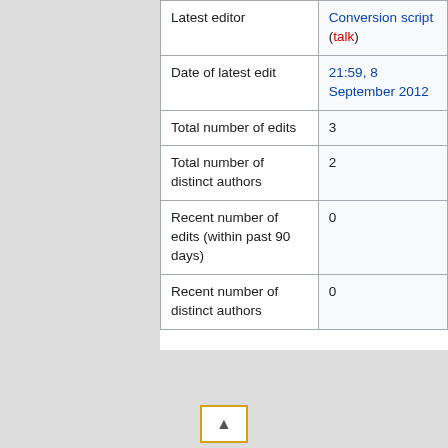| Latest editor | Conversion script (talk) |
| Date of latest edit | 21:59, 8 September 2012 |
| Total number of edits | 3 |
| Total number of distinct authors | 2 |
| Recent number of edits (within past 90 days) | 0 |
| Recent number of distinct authors | 0 |